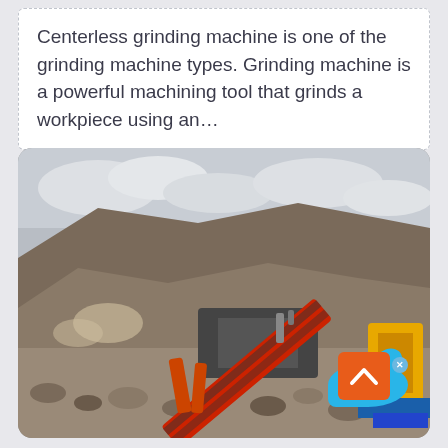Centerless grinding machine is one of the grinding machine types. Grinding machine is a powerful machining tool that grinds a workpiece using an…
[Figure (photo): A large red and black industrial crushing/grinding machine with a conveyor belt arm angled upward, operating in a quarry or mining site with rocky terrain and overcast sky. A 'Live Chat' bubble and scroll-to-top button overlay the image.]